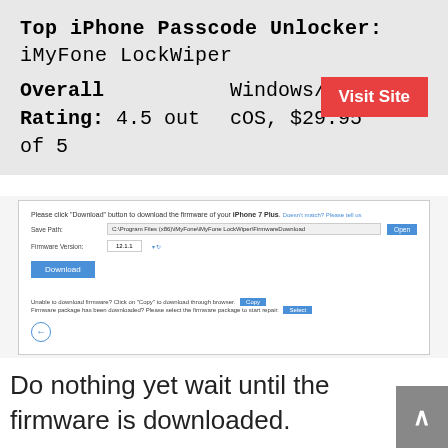Top iPhone Passcode Unlocker: iMyFone LockWiper
Overall Rating: 4.5 out of 5     Windows/macOS, $29.95
[Figure (screenshot): Screenshot of iMyFone LockWiper firmware download screen showing download button, save path field, firmware version selector, and bottom options for copy link and select firmware package.]
Do nothing yet wait until the firmware is downloaded.